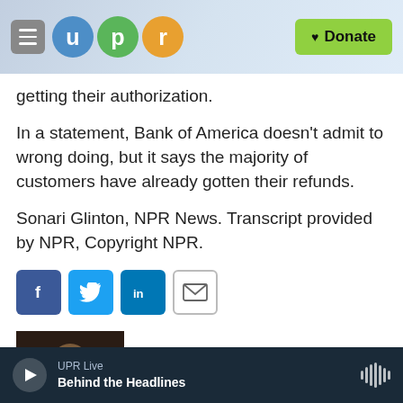UPR - u p r - Donate
getting their authorization.
In a statement, Bank of America doesn't admit to wrong doing, but it says the majority of customers have already gotten their refunds.
Sonari Glinton, NPR News. Transcript provided by NPR, Copyright NPR.
[Figure (other): Social sharing buttons: Facebook, Twitter, LinkedIn, Email]
[Figure (photo): Headshot photo of Sonari Glinton]
Sonari Glinton
UPR Live - Behind the Headlines